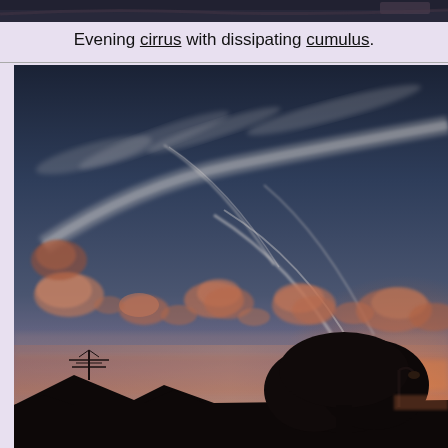[Figure (photo): Narrow dark strip at very top of page showing a dark sky/cloud photo header]
Evening cirrus with dissipating cumulus.
[Figure (photo): Photograph of an evening sky showing cirrus clouds and dissipating cumulus clouds illuminated in pinkish-orange sunset light against a blue-grey sky, with rooftop and tree silhouettes in the foreground at the bottom.]